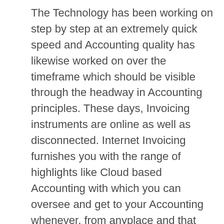The Technology has been working on step by step at an extremely quick speed and Accounting quality has likewise worked on over the timeframe which should be visible through the headway in Accounting principles. These days, Invoicing instruments are online as well as disconnected. Internet Invoicing furnishes you with the range of highlights like Cloud based Accounting with which you can oversee and get to your Accounting whenever, from anyplace and that excessively Independent of utilizing a specific gadget. This way you could gain admittance to the information of your record at Real time and you don't need to be in your office work area all the time to watch out for your bookkeeping status.
Bookkeeping devices nowadays accompanies HRMS (Human Resource Management System and CRMS (Customer Relationship the executives framework) device with which you can undoubtedly deal with your clients and Employees in an extremely better manner.